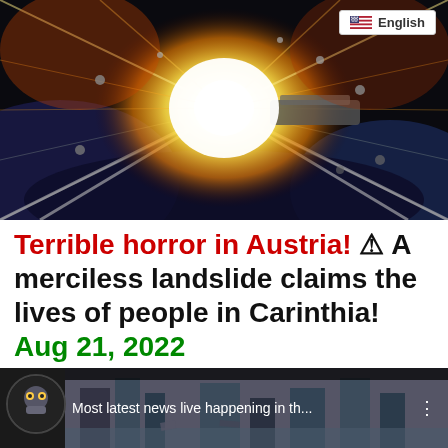[Figure (photo): Bright explosion / bright light flash with radiating rays on a dark background, depicting a dramatic cosmic or industrial explosion scene.]
[Figure (screenshot): Language selector badge showing US flag and 'English' text in top-right of image.]
Terrible horror in Austria! ⚠ A merciless landslide claims the lives of people in Carinthia! Aug 21, 2022
[Figure (screenshot): Video thumbnail showing 'Most latest news live happening in th...' with a thumbnail image of disaster scene (flooded/destroyed buildings) and a circular channel icon on left.]